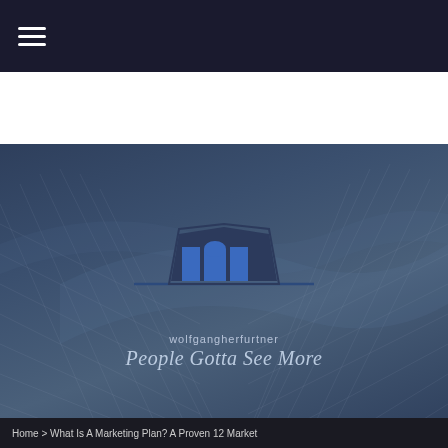[Figure (screenshot): Top navigation bar with hamburger menu icon (three white horizontal lines) on dark navy background]
[Figure (screenshot): Hero banner with blue-grey gradient background and decorative wire mesh/wave pattern overlay. Contains house logo with 'wolfgangherfurtner' text and 'People Gotta See More' tagline.]
[Figure (screenshot): White/light grey menu bar with hamburger menu icon (three dark horizontal lines) centered]
Home > What Is A Marketing Plan? A Proven 12 Market